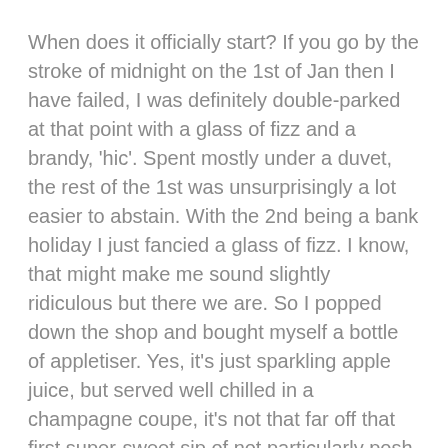When does it officially start? If you go by the stroke of midnight on the 1st of Jan then I have failed, I was definitely double-parked at that point with a glass of fizz and a brandy, 'hic'. Spent mostly under a duvet, the rest of the 1st was unsurprisingly a lot easier to abstain. With the 2nd being a bank holiday I just fancied a glass of fizz. I know, that might make me sound slightly ridiculous but there we are. So I popped down the shop and bought myself a bottle of appletiser. Yes, it's just sparkling apple juice, but served well chilled in a champagne coupe, it's not that far off that first super-sweet sip of not particularly posh Prosecco – just what I was after! I thought it needed something extra though, something to kick the sweetness down just one notch so I took a strip of lemon zest into it, on the edge, and a twist of